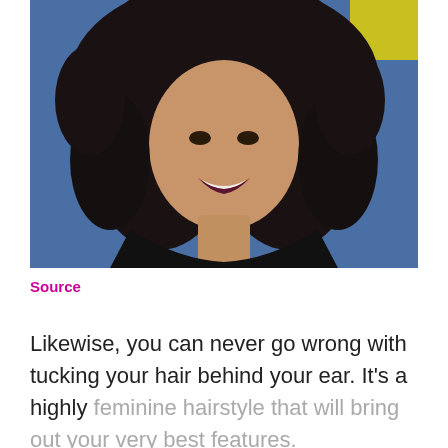[Figure (photo): A woman with long curly black hair, smiling, wearing a black top, against a blue background with a yellow element visible.]
Source
Likewise, you can never go wrong with tucking your hair behind your ear. It’s a highly feminine hairstyle that will bring out your very best features.